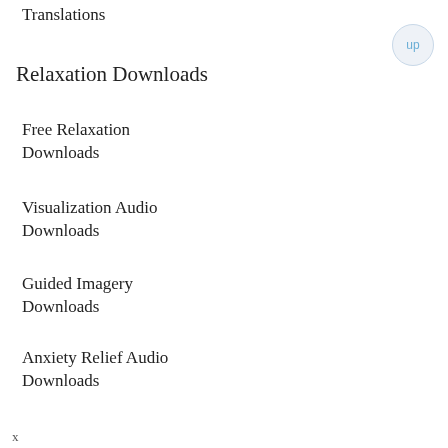Translations
Relaxation Downloads
Free Relaxation Downloads
Visualization Audio Downloads
Guided Imagery Downloads
Anxiety Relief Audio Downloads
Meditation Audio Downloads
x